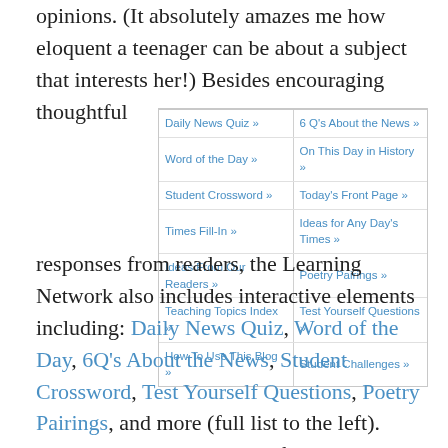opinions. (It absolutely amazes me how eloquent a teenager can be about a subject that interests her!) Besides encouraging thoughtful
[Figure (screenshot): Navigation table with links: Daily News Quiz, 6 Q's About the News, Word of the Day, On This Day in History, Student Crossword, Today's Front Page, Times Fill-In, Ideas for Any Day's Times, Ideas From Our Readers, Poetry Pairings, Teaching Topics Index, Test Yourself Questions, How To Use This Blog, Student Challenges]
responses from readers, the Learning Network also includes interactive elements including: Daily News Quiz, Word of the Day, 6Q's About the News, Student Crossword, Test Yourself Questions, Poetry Pairings, and more (full list to the left). There are also lesson plans for teachers. All of these elements provide a variety of ways for students and teachers to interact with the material and